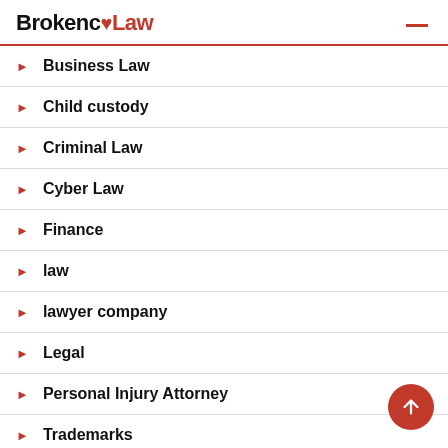BrokencLaw
Business Law
Child custody
Criminal Law
Cyber Law
Finance
law
lawyer company
Legal
Personal Injury Attorney
Trademarks